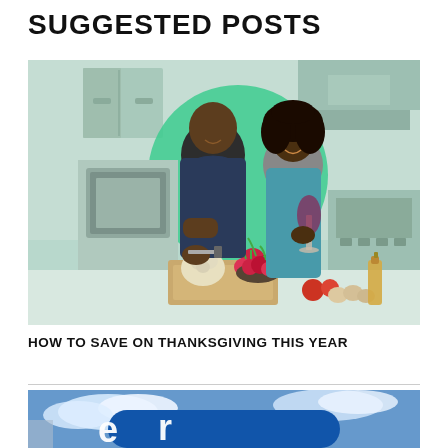SUGGESTED POSTS
[Figure (photo): A couple in a kitchen — man chopping vegetables on a cutting board, woman holding a glass of wine. Green circle in background, mint-green kitchen cabinets and appliances visible. Fresh vegetables including radishes, cauliflower, and tomatoes on counter.]
HOW TO SAVE ON THANKSGIVING THIS YEAR
[Figure (photo): Partial view of a store sign with blue circular logo and white lettering, against a blue sky with clouds.]